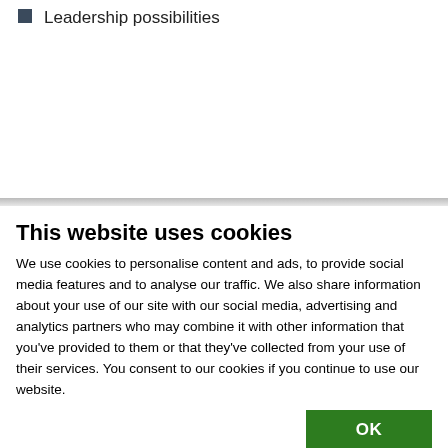Leadership possibilities
This website uses cookies
We use cookies to personalise content and ads, to provide social media features and to analyse our traffic. We also share information about your use of our site with our social media, advertising and analytics partners who may combine it with other information that you've provided to them or that they've collected from your use of their services. You consent to our cookies if you continue to use our website.
| Necessary | Preferences | Show details |
| Statistics | Marketing |  |